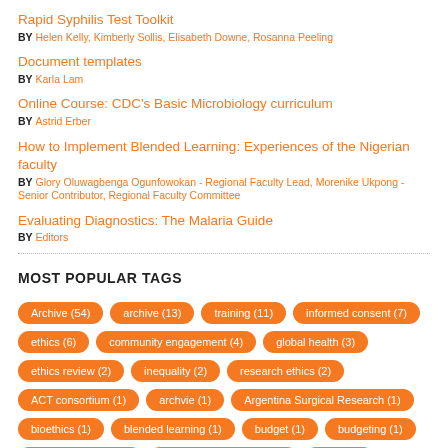Rapid Syphilis Test Toolkit
BY Helen Kelly, Kimberly Sollis, Elisabeth Downe, Rosanna Peeling
Document templates
BY Karla Lam
Online Course: CDC's Basic Microbiology curriculum
BY Astrid Erber
How to Implement Blended Learning: Experiences of the Nigerian faculty
BY Glory Oluwagbenga Ogunfowokan - Regional Faculty Lead, Morenike Ukpong - Senior Contributor, Regional Faculty Committee
Evaluating Diagnostics: The Malaria Guide
BY Editors
MOST POPULAR TAGS
Archive (54)
archive (13)
training (11)
informed consent (7)
ethics (6)
community engagement (4)
global health (3)
ethics review (2)
inequality (2)
research ethics (2)
ACT consortium (1)
archvie (1)
Argentina Surgical Research (1)
bioethics (1)
blended learning (1)
budget (1)
budgeting (1)
capacity building (1)
capacity development (1)
china (1)